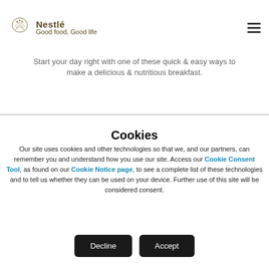Nestlé — Good food, Good life
Start your day right with one of these quick & easy ways to make a delicious & nutritious breakfast.
Cookies
Our site uses cookies and other technologies so that we, and our partners, can remember you and understand how you use our site. Access our Cookie Consent Tool, as found on our Cookie Notice page, to see a complete list of these technologies and to tell us whether they can be used on your device. Further use of this site will be considered consent.
Decline
Accept